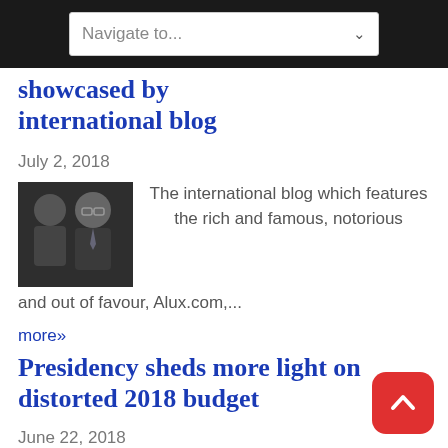Navigate to...
showcased by international blog
July 2, 2018
[Figure (photo): Two men in suits, one wearing glasses]
The international blog which features the rich and famous, notorious and out of favour, Alux.com,...
more»
Presidency sheds more light on distorted 2018 budget
June 22, 2018
[Figure (photo): Man speaking at a podium]
Sequel to the response of the National Assembly